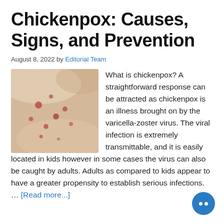Chickenpox: Causes, Signs, and Prevention
August 8, 2022 by Editorial Team
[Figure (photo): Close-up photo of skin with chickenpox rash showing red spots/pustules on pale skin]
What is chickenpox? A straightforward response can be attracted as chickenpox is an illness brought on by the varicella-zoster virus. The viral infection is extremely transmittable, and it is easily located in kids however in some cases the virus can also be caught by adults. Adults as compared to kids appear to have a greater propensity to establish serious infections. … [Read more...]